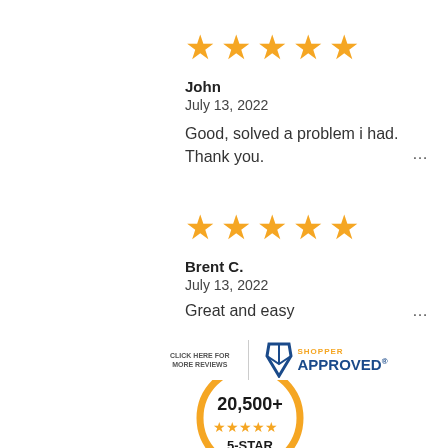[Figure (illustration): Five orange stars rating]
John
July 13, 2022
Good, solved a problem i had. Thank you. ...
[Figure (illustration): Five orange stars rating]
Brent C.
July 13, 2022
Great and easy ...
[Figure (logo): Shopper Approved badge - Click here for more reviews]
[Figure (illustration): 20,500+ 5-STAR reviews badge with gold circle and orange stars]